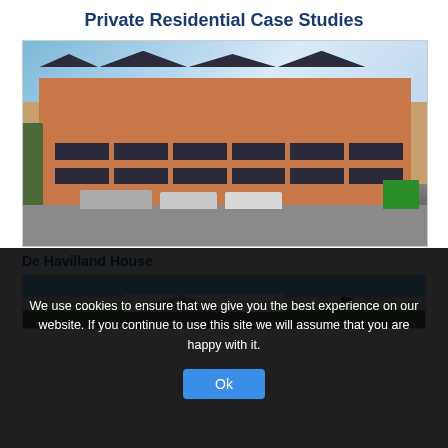Private Residential Case Studies
[Figure (photo): Exterior photo of De Havilland House, a multi-storey brick residential building with dark roof peaks and balconies, cars parked in front, trees on left, green machinery on right, blue sky with clouds.]
De Havilland House
[Figure (photo): Partial view of a white house exterior with trees and a streetlamp visible, partially obscured by a cookie consent overlay.]
We use cookies to ensure that we give you the best experience on our website. If you continue to use this site we will assume that you are happy with it.